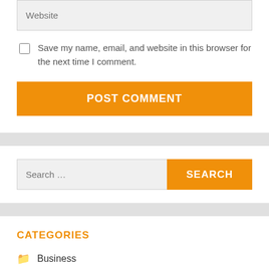Website
Save my name, email, and website in this browser for the next time I comment.
POST COMMENT
Search …
SEARCH
CATEGORIES
Business